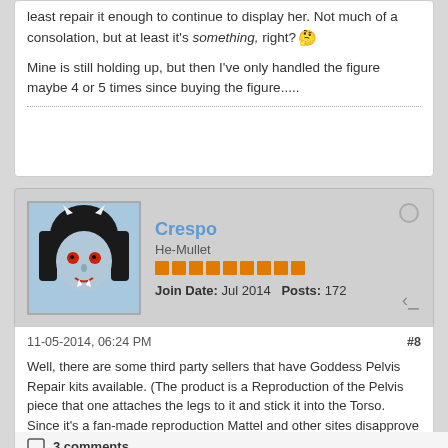least repair it enough to continue to display her. Not much of a consolation, but at least it's something, right? [emoji]
Mine is still holding up, but then I've only handled the figure maybe 4 or 5 times since buying the figure.....
Crespo
He-Mullet
Join Date: Jul 2014   Posts: 172
11-05-2014, 06:24 PM
#8
Well, there are some third party sellers that have Goddess Pelvis Repair kits available. (The product is a Reproduction of the Pelvis piece that one attaches the legs to it and stick it into the Torso. Since it's a fan-made reproduction Mattel and other sites disapprove of it and other "Third Party reproductions")
I ♥ Glimmer!
3 comments